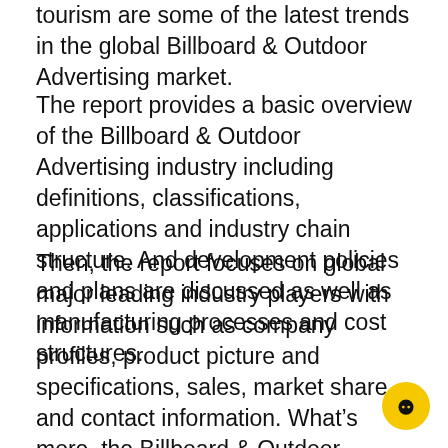tourism are some of the latest trends in the global Billboard & Outdoor Advertising market.
The report provides a basic overview of the Billboard & Outdoor Advertising industry including definitions, classifications, applications and industry chain structure. And development policies and plans are discussed as well as manufacturing processes and cost structures.
Then, the report focuses on global major leading industry players with information such as company profiles, product picture and specifications, sales, market share and contact information. What’s more, the Billboard & Outdoor Advertising industry development trends and marketing channels are analyzed.